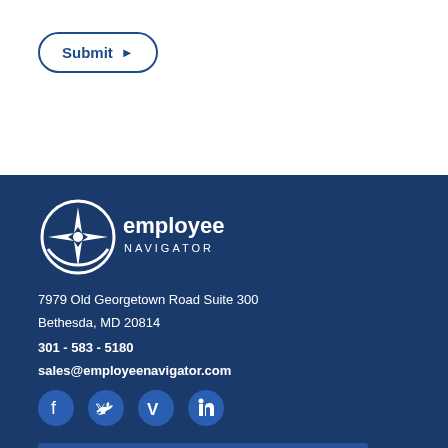Submit ▶
[Figure (logo): Employee Navigator logo — compass icon with 'employee NAVIGATOR' text in white]
7979 Old Georgetown Road Suite 300
Bethesda, MD 20814
301 - 583 - 5180
sales@employeenavigator.com
[Figure (infographic): Social media icons: Facebook, Twitter, Vimeo, LinkedIn in dark blue circles]
email@address.com